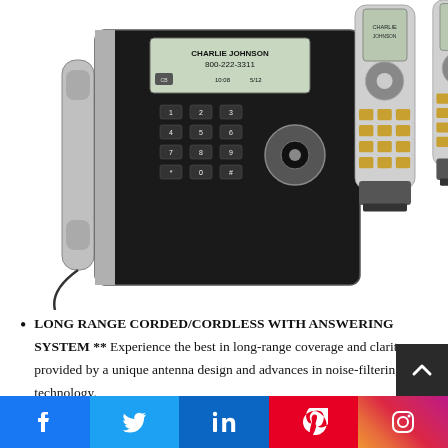[Figure (photo): AT&T corded/cordless phone system with base unit showing CHARLIE JOHNSON 800-222-3311 on display, and two cordless handsets in charging cradles]
LONG RANGE CORDED/CORDLESS WITH ANSWERING SYSTEM ** Experience the best in long-range coverage and clarity, provided by a unique antenna design and advances in noise-filtering technology.